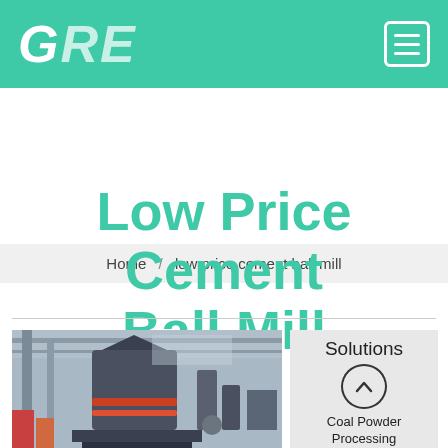GRE
Home / low price cement ball mill
Low Price Cement Ball Mill
[Figure (photo): Industrial cement ball mill machinery in a factory setting with large cylindrical equipment and structural steel supports]
Solutions
Coal Powder Processing